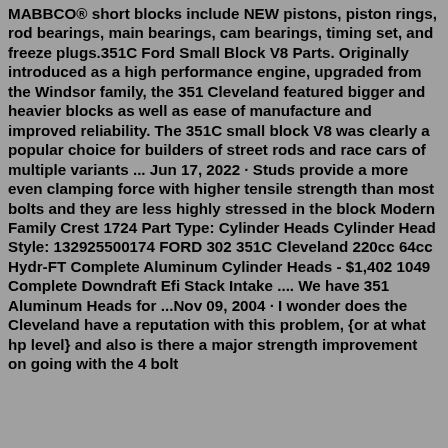MABBCO® short blocks include NEW pistons, piston rings, rod bearings, main bearings, cam bearings, timing set, and freeze plugs.351C Ford Small Block V8 Parts. Originally introduced as a high performance engine, upgraded from the Windsor family, the 351 Cleveland featured bigger and heavier blocks as well as ease of manufacture and improved reliability. The 351C small block V8 was clearly a popular choice for builders of street rods and race cars of multiple variants ... Jun 17, 2022 · Studs provide a more even clamping force with higher tensile strength than most bolts and they are less highly stressed in the block Modern Family Crest 1724 Part Type: Cylinder Heads Cylinder Head Style: 132925500174 FORD 302 351C Cleveland 220cc 64cc Hydr-FT Complete Aluminum Cylinder Heads - $1,402 1049 Complete Downdraft Efi Stack Intake .... We have 351 Aluminum Heads for ...Nov 09, 2004 · I wonder does the Cleveland have a reputation with this problem, {or at what hp level} and also is there a major strength improvement on going with the 4 bolt